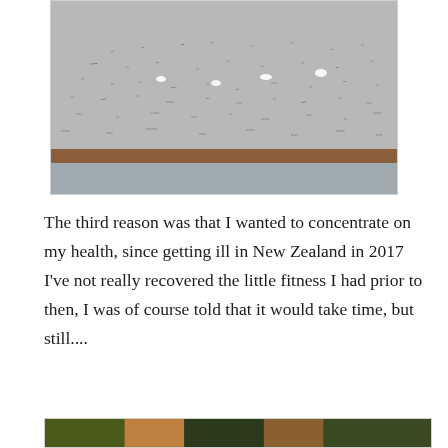[Figure (photo): A large flock of birds in flight over a flat sandy/muddy shoreline with water, under a grey overcast sky.]
The third reason was that I wanted to concentrate on my health, since getting ill in New Zealand in 2017 I've not really recovered the little fitness I had prior to then, I was of course told that it would take time, but still....
[Figure (photo): Partial view of another photo at the bottom of the page — colorful, partially visible.]